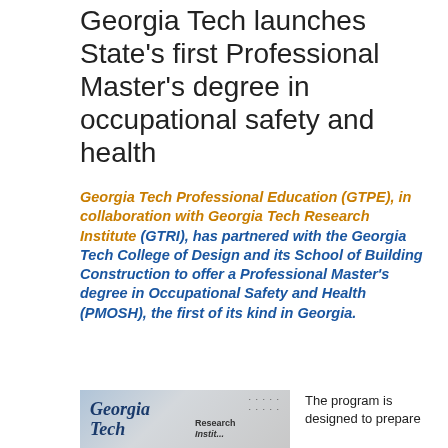Georgia Tech launches State's first Professional Master's degree in occupational safety and health
Georgia Tech Professional Education (GTPE), in collaboration with Georgia Tech Research Institute (GTRI), has partnered with the Georgia Tech College of Design and its School of Building Construction to offer a Professional Master's degree in Occupational Safety and Health (PMOSH), the first of its kind in Georgia.
[Figure (photo): Photo of a Georgia Tech Research Institute sign or placard with the Georgia Tech logo visible and 'Research' text, with background dots/pattern]
The program is designed to prepare